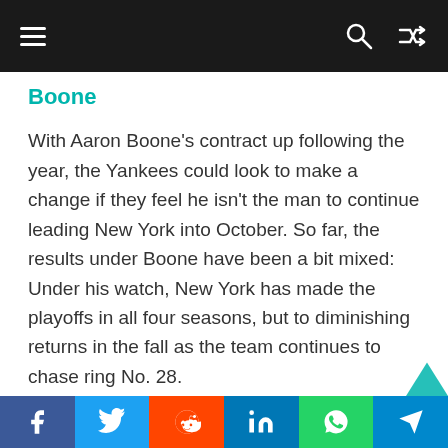Navigation bar with hamburger menu, search icon, and shuffle icon
Boone
With Aaron Boone’s contract up following the year, the Yankees could look to make a change if they feel he isn’t the man to continue leading New York into October. So far, the results under Boone have been a bit mixed: Under his watch, New York has made the playoffs in all four seasons, but to diminishing returns in the fall as the team continues to chase ring No. 28.
If Boone’s post-game answers are any insight to his situation, then maybe he won’t be the guy to help them get there.
Social share bar: Facebook, Twitter, Reddit, LinkedIn, WhatsApp, Telegram